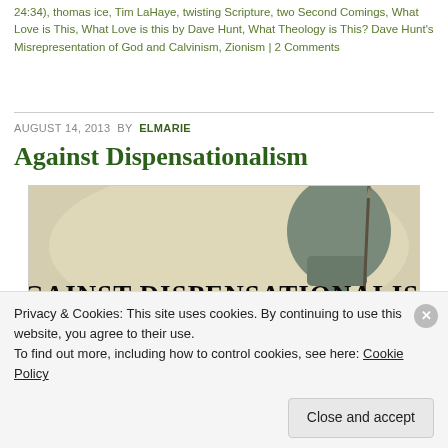24:34), thomas ice, Tim LaHaye, twisting Scripture, two Second Comings, What Love is This, What Love is this by Dave Hunt, What Theology is This? Dave Hunt's Misrepresentation of God and Calvinism, Zionism | 2 Comments
AUGUST 14, 2013 BY ELMARIE
Against Dispensationalism
[Figure (illustration): Book cover or article header image with large text 'AGAINST DISPENSATIONALISM' over a painted background showing a Roman helmet and figure.]
Privacy & Cookies: This site uses cookies. By continuing to use this website, you agree to their use. To find out more, including how to control cookies, see here: Cookie Policy